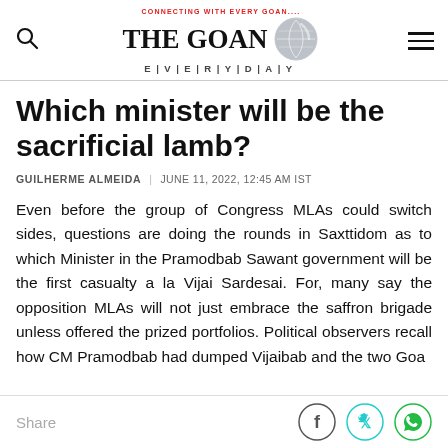CONNECTING WITH EVERY GOAN.... THE GOAN EVERYDAY
Which minister will be the sacrificial lamb?
GUILHERME ALMEIDA | JUNE 11, 2022, 12:45 AM IST
Even before the group of Congress MLAs could switch sides, questions are doing the rounds in Saxttidom as to which Minister in the Pramodbab Sawant government will be the first casualty a la Vijai Sardesai. For, many say the opposition MLAs will not just embrace the saffron brigade unless offered the prized portfolios. Political observers recall how CM Pramodbab had dumped Vijaibab and the two Goa
Share